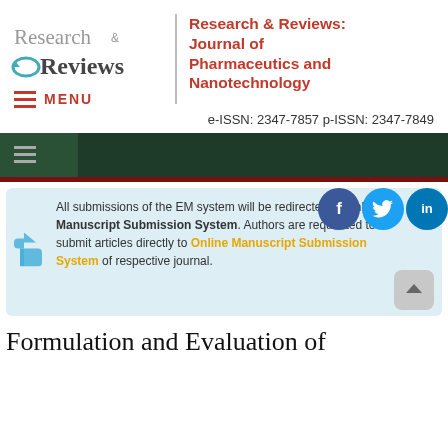[Figure (logo): Research & Reviews journal logo with stylized circular icon]
Research & Reviews: Journal of Pharmaceutics and Nanotechnology
MENU
e-ISSN: 2347-7857 p-ISSN: 2347-7849
[Figure (screenshot): Dark green navigation bar with hamburger menu icon]
[Figure (infographic): Social media icons: Facebook, Twitter, LinkedIn]
All submissions of the EM system will be redirected to Online Manuscript Submission System. Authors are requested to submit articles directly to Online Manuscript Submission System of respective journal.
Formulation and Evaluation of